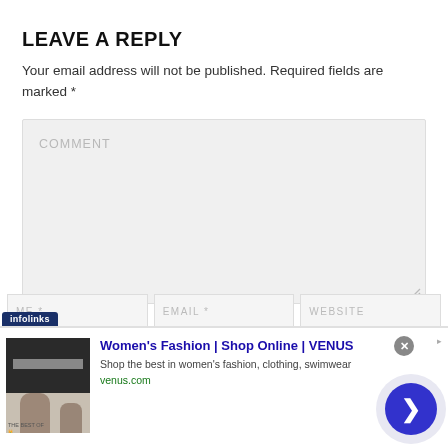LEAVE A REPLY
Your email address will not be published. Required fields are marked *
[Figure (screenshot): Comment text area input box with placeholder text COMMENT and a resize handle in the bottom right corner]
[Figure (screenshot): Three input fields labeled NAME *, EMAIL *, WEBSITE in a row]
[Figure (screenshot): Infolinks advertisement banner. Ad shows Women's Fashion | Shop Online | VENUS. Shop the best in women's fashion, clothing, swimwear. venus.com. With a close button and forward arrow button.]